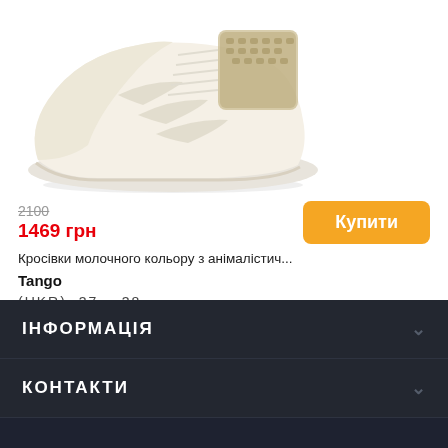[Figure (photo): White/cream sneaker shoe with animal print detail near the ankle, photographed on white background]
2100 (strikethrough old price)
1469 грн
Купити
Кросівки молочного кольору з анімалістич...
Tango
(UKR)  37    38
ІНФОРМАЦІЯ
КОНТАКТИ
UK  |  RU